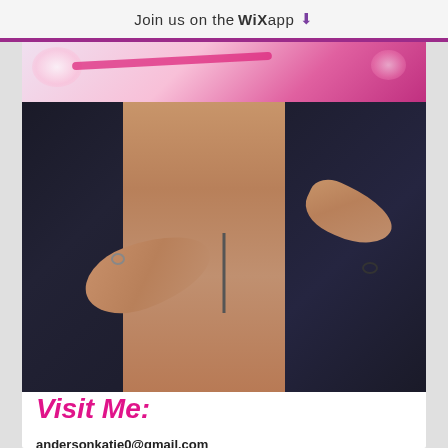Join us on the WiX app ⬇
[Figure (photo): Fashion photo showing the back of a person in a black backless dress being helped/dressed by another person, with hands adjusting the back of the dress]
Visit Me:
andersonkatie0@gmail.com
Facebook: Kate-Anderson